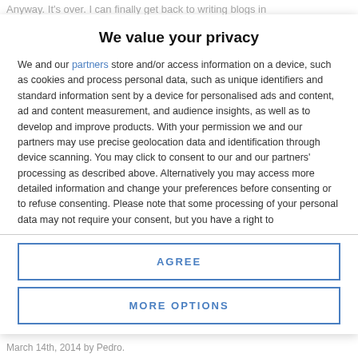Anyway. It's over. I can finally get back to writing blogs in
We value your privacy
We and our partners store and/or access information on a device, such as cookies and process personal data, such as unique identifiers and standard information sent by a device for personalised ads and content, ad and content measurement, and audience insights, as well as to develop and improve products. With your permission we and our partners may use precise geolocation data and identification through device scanning. You may click to consent to our and our partners' processing as described above. Alternatively you may access more detailed information and change your preferences before consenting or to refuse consenting. Please note that some processing of your personal data may not require your consent, but you have a right to
AGREE
MORE OPTIONS
March 14th, 2014 by Pedro.